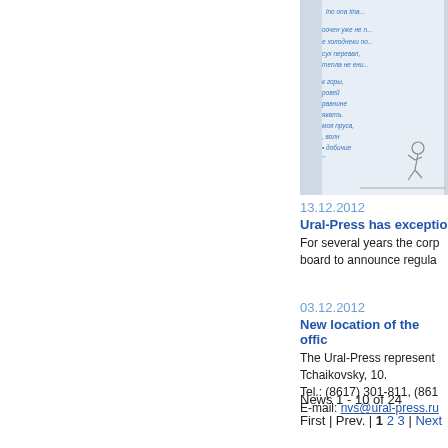[Figure (photo): Photo of a handwritten note in Russian (Cyrillic) with a small sketch/cartoon of a running figure. The text appears to be a poem or message written in blue ink.]
13.12.2012
Ural-Press has exceptio...
For several years the corp... board to announce regula...
03.12.2012
New location of the offic...
The Ural-Press represent... Tchaikovsky, 10.
Tel.: (8617) 301-811, (861...
E-mail: nvs@ural-press.ru
News 1 - 10 of 24
First | Prev. | 1 2 3 | Next